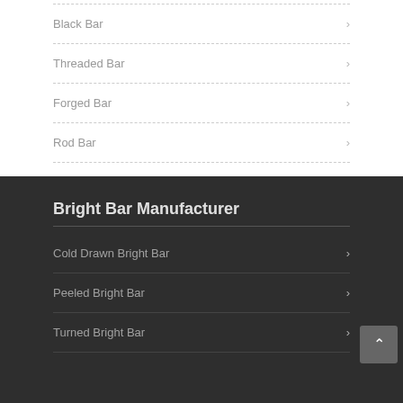Black Bar
Threaded Bar
Forged Bar
Rod Bar
Bright Bar Manufacturer
Cold Drawn Bright Bar
Peeled Bright Bar
Turned Bright Bar